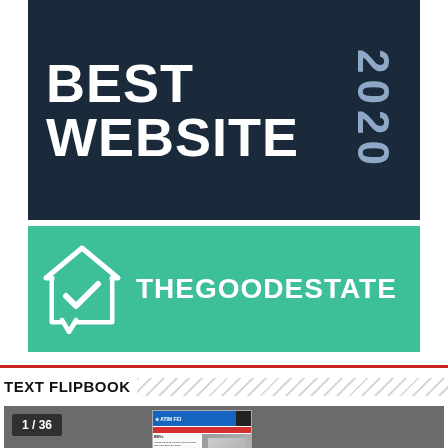[Figure (logo): Dark navy award banner reading BEST WEBSITE with 2020 in vertical text on the right]
[Figure (logo): Teal banner with house/checkmark logo and text THEGOODESTATE in white]
TEXT FLIPBOOK
[Figure (screenshot): Flipbook viewer showing page 1 of 36 with a newspaper page thumbnail, navigation arrows, and a red scroll-to-top button]